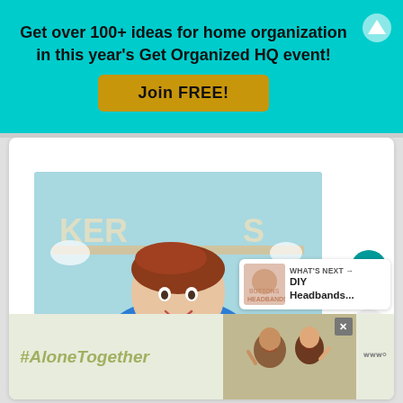Get over 100+ ideas for home organization in this year's Get Organized HQ event!
Join FREE!
[Figure (photo): Smiling woman with red curly hair wearing a blue shirt and white apron with MAKER logo, standing in front of a shelf with lit letter decorations]
144K
WHAT'S NEXT → DIY Headbands...
#AloneTogether
[Figure (photo): Two people waving on a video call, advertisement photo]